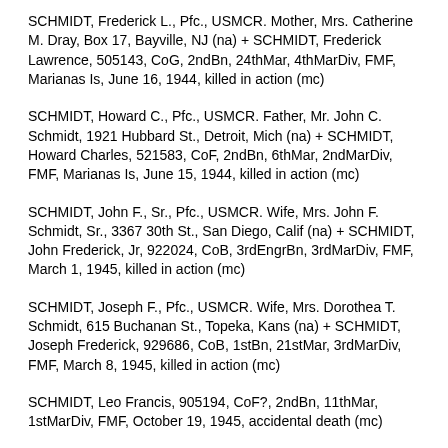SCHMIDT, Frederick L., Pfc., USMCR. Mother, Mrs. Catherine M. Dray, Box 17, Bayville, NJ (na) + SCHMIDT, Frederick Lawrence, 505143, CoG, 2ndBn, 24thMar, 4thMarDiv, FMF, Marianas Is, June 16, 1944, killed in action (mc)
SCHMIDT, Howard C., Pfc., USMCR. Father, Mr. John C. Schmidt, 1921 Hubbard St., Detroit, Mich (na) + SCHMIDT, Howard Charles, 521583, CoF, 2ndBn, 6thMar, 2ndMarDiv, FMF, Marianas Is, June 15, 1944, killed in action (mc)
SCHMIDT, John F., Sr., Pfc., USMCR. Wife, Mrs. John F. Schmidt, Sr., 3367 30th St., San Diego, Calif (na) + SCHMIDT, John Frederick, Jr, 922024, CoB, 3rdEngrBn, 3rdMarDiv, FMF, March 1, 1945, killed in action (mc)
SCHMIDT, Joseph F., Pfc., USMCR. Wife, Mrs. Dorothea T. Schmidt, 615 Buchanan St., Topeka, Kans (na) + SCHMIDT, Joseph Frederick, 929686, CoB, 1stBn, 21stMar, 3rdMarDiv, FMF, March 8, 1945, killed in action (mc)
SCHMIDT, Leo Francis, 905194, CoF?, 2ndBn, 11thMar, 1stMarDiv, FMF, October 19, 1945, accidental death (mc)
SCHMIDT, Lloyd A., Pfc., USMC. Mother, Mrs. Helen